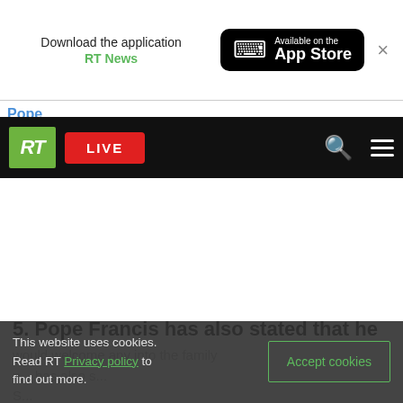[Figure (screenshot): App download banner with RT News and App Store button]
Pope
[Figure (screenshot): RT website navigation bar with RT logo, LIVE button, search and menu icons]
5. Pope Francis has also stated that he
This website uses cookies. Read RT Privacy policy to find out more.
Accept cookies